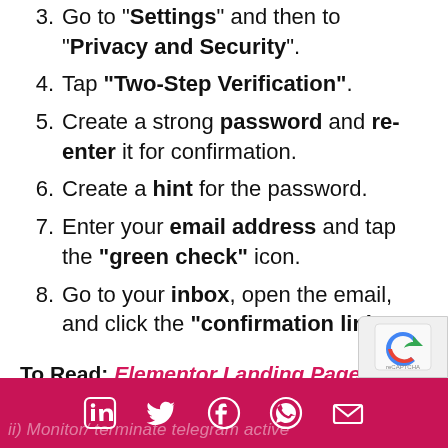3. Go to "Settings" and then to "Privacy and Security".
4. Tap "Two-Step Verification".
5. Create a strong password and re-enter it for confirmation.
6. Create a hint for the password.
7. Enter your email address and tap the "green check" icon.
8. Go to your inbox, open the email, and click the "confirmation link".
To Read: Elementor Landing Page – A Step by Step Guide
ii) Monitor/ terminate telegram active